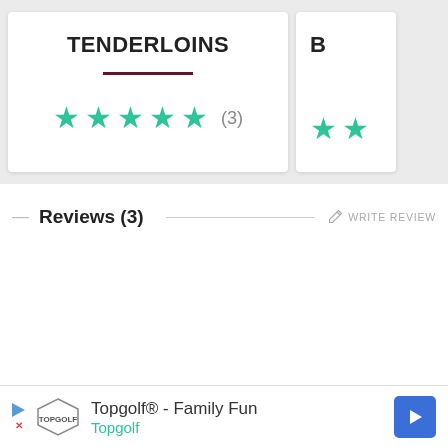TENDERLOINS
[Figure (other): Star rating: 4 teal stars out of 5 with review count (3)]
B…
[Figure (other): Partial star rating: 2 teal stars visible]
Reviews (3)
WRITE REVIEW
[Figure (other): Advertisement banner: Topgolf® - Family Fun, Topgolf]